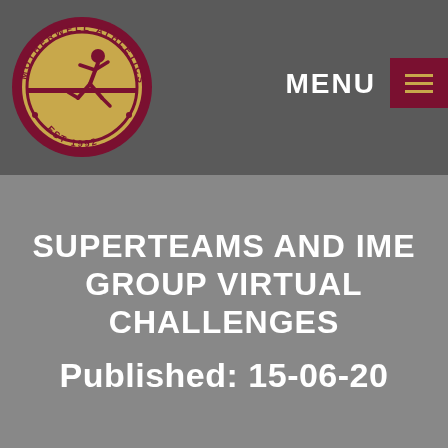[Figure (logo): Motherwell Athletics Club circular logo — gold circle with maroon border, running athlete silhouette in center, text 'MOTHERWELL ATHLETICS CLUB' around top, 'EST 1992' at bottom]
MENU ≡
SUPERTEAMS AND IME GROUP VIRTUAL CHALLENGES
Published: 15-06-20